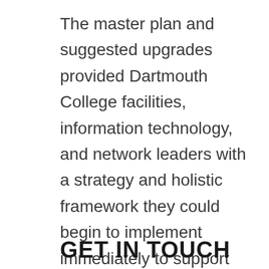The master plan and suggested upgrades provided Dartmouth College facilities, information technology, and network leaders with a strategy and holistic framework they could begin to implement immediately to support the evolving needs of Dartmouth College as a global institution.
GET IN TOUCH